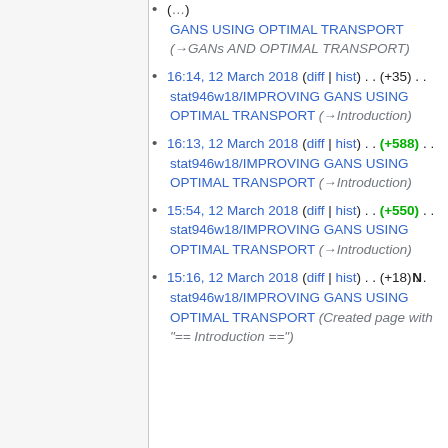(…) GANS USING OPTIMAL TRANSPORT (→GANs AND OPTIMAL TRANSPORT)
16:14, 12 March 2018 (diff | hist) . . (+35) . . stat946w18/IMPROVING GANS USING OPTIMAL TRANSPORT (→Introduction)
16:13, 12 March 2018 (diff | hist) . . (+588) . . stat946w18/IMPROVING GANS USING OPTIMAL TRANSPORT (→Introduction)
15:54, 12 March 2018 (diff | hist) . . (+550) . . stat946w18/IMPROVING GANS USING OPTIMAL TRANSPORT (→Introduction)
15:16, 12 March 2018 (diff | hist) . . (+18) . . N stat946w18/IMPROVING GANS USING OPTIMAL TRANSPORT (Created page with "== Introduction ==")